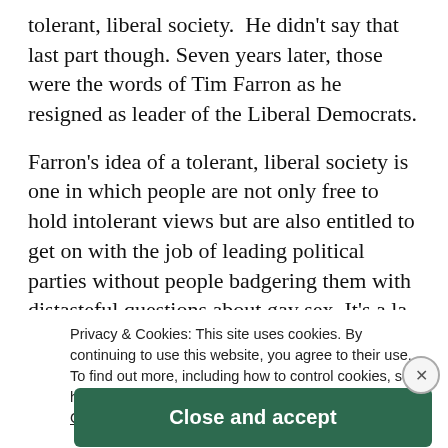tolerant, liberal society.  He didn't say that last part though. Seven years later, those were the words of Tim Farron as he resigned as leader of the Liberal Democrats.
Farron's idea of a tolerant, liberal society is one in which people are not only free to hold intolerant views but are also entitled to get on with the job of leading political parties without people badgering them with distasteful questions about gay sex. It's a la la land in which the personal is not the political and there's no connection between beliefs and passionate about equality and how you actually view them yourself.
Privacy & Cookies: This site uses cookies. By continuing to use this website, you agree to their use.
To find out more, including how to control cookies, see here:
Cookie Policy
Close and accept